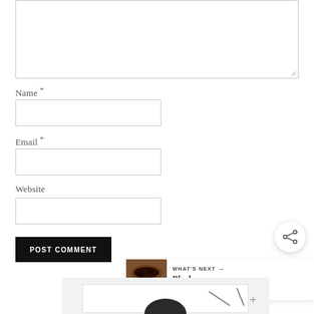[Figure (screenshot): Comment form textarea (empty, resizable) with border]
Name *
[Figure (screenshot): Name input field (empty text box with border)]
Email *
[Figure (screenshot): Email input field (empty text box with border)]
Website
[Figure (screenshot): Website input field (empty text box with border)]
[Figure (screenshot): POST COMMENT button (black background, white text)]
[Figure (screenshot): Share icon button (circular, white with share symbol)]
[Figure (screenshot): WHAT'S NEXT panel with Blueberry Cream Pie thumbnail and text]
[Figure (photo): Partial bottom image showing kitchen/baking scene]